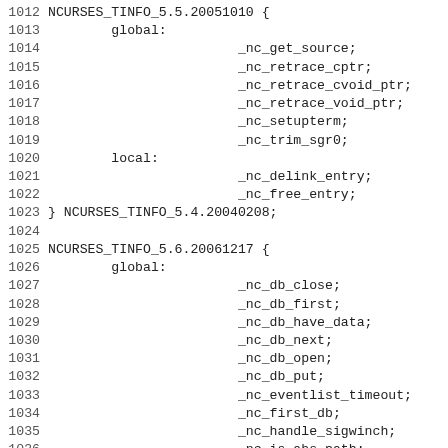Code listing lines 1012-1043 showing ncurses version symbol definitions for NCURSES_TINFO_5.5.20051010 and NCURSES_TINFO_5.6.20061217 blocks with global and local symbol entries.